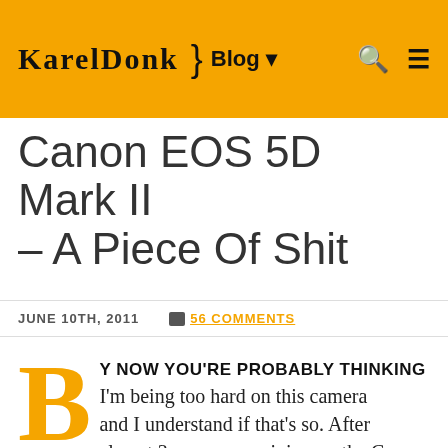KARELDONK } Blog ▾ 🔍 ☰
Canon EOS 5D Mark II – A Piece Of Shit
JUNE 10TH, 2011   56 COMMENTS
BY NOW YOU'RE PROBABLY THINKING I'm being too hard on this camera and I understand if that's so. After almost 3 years my opinion on the Canon